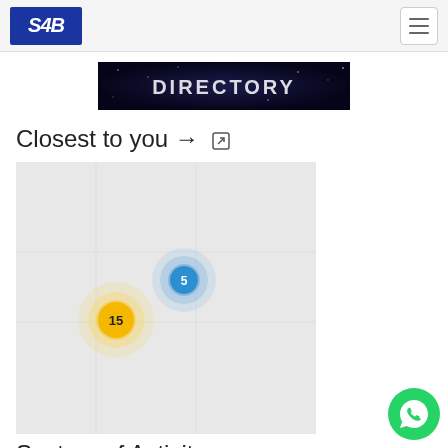SAB logo and navigation menu
[Figure (screenshot): DIRECTORY banner with dark blue/purple starfield background and glowing white text reading DIRECTORY]
Closest to you → ↗
[Figure (map): Map showing two cluster markers: a yellow marker with number 15 and a blue marker with number 5, on a light grey map background]
Sectors of Activity